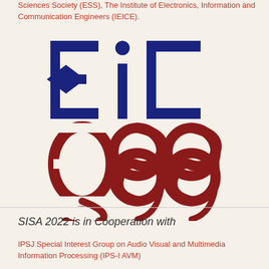Sciences Society (ESS), The Institute of Electronics, Information and Communication Engineers (IEICE).
[Figure (logo): IEICE ESS logo: top half shows dark blue stylized 'EIC' letters on cream background; bottom half shows dark red stylized 'ESS' letters with swirl motifs on cream background.]
SISA 2022 is in Cooperation with
IPSJ Special Interest Group on Audio Visual and Multimedia Information Processing (IPS-I AVM)